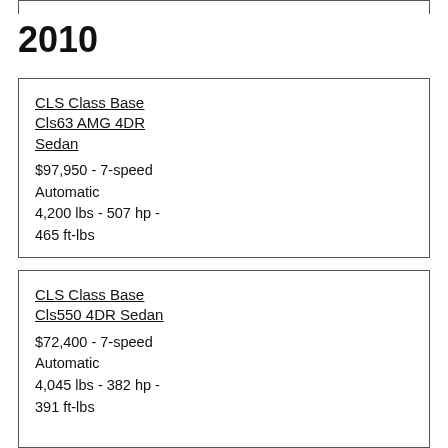2010
CLS Class Base Cls63 AMG 4DR Sedan
$97,950 - 7-speed Automatic
4,200 lbs - 507 hp - 465 ft-lbs
CLS Class Base Cls550 4DR Sedan
$72,400 - 7-speed Automatic
4,045 lbs - 382 hp - 391 ft-lbs